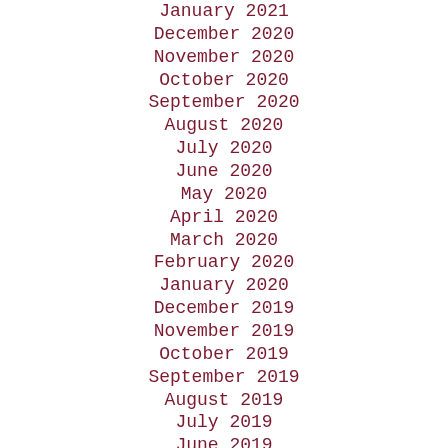January 2021
December 2020
November 2020
October 2020
September 2020
August 2020
July 2020
June 2020
May 2020
April 2020
March 2020
February 2020
January 2020
December 2019
November 2019
October 2019
September 2019
August 2019
July 2019
June 2019
May 2019
April 2019
March 2019